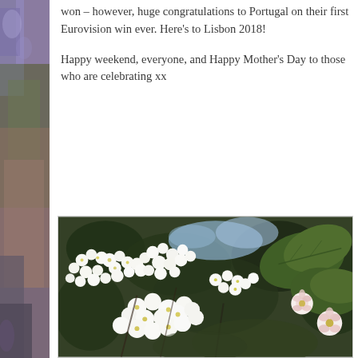won – however, huge congratulations to Portugal on their first Eurovision win ever. Here's to Lisbon 2018!
Happy weekend, everyone, and Happy Mother's Day to those who are celebrating xx
[Figure (photo): Close-up photograph of clusters of small white flowers with green leaves, likely hawthorn or spirea blossoms, with pink-centered buds visible in the foreground right.]